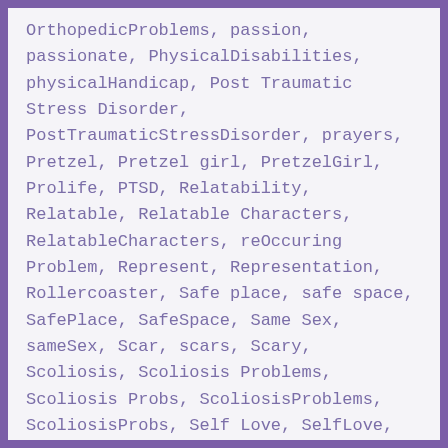OrthopedicProblems, passion, passionate, PhysicalDisabilities, physicalHandicap, Post Traumatic Stress Disorder, PostTraumaticStressDisorder, prayers, Pretzel, Pretzel girl, PretzelGirl, Prolife, PTSD, Relatability, Relatable, Relatable Characters, RelatableCharacters, reOccuring Problem, Represent, Representation, Rollercoaster, Safe place, safe space, SafePlace, SafeSpace, Same Sex, sameSex, Scar, scars, Scary, Scoliosis, Scoliosis Problems, Scoliosis Probs, ScoliosisProblems, ScoliosisProbs, Self Love, SelfLove, Shame, Shaming, Social Skills, SocialSkills, society, Special Needs, SpecialNeeds, Spoonie, Stop Bullies, Stop Bullying, StopBullies, StopBullying,